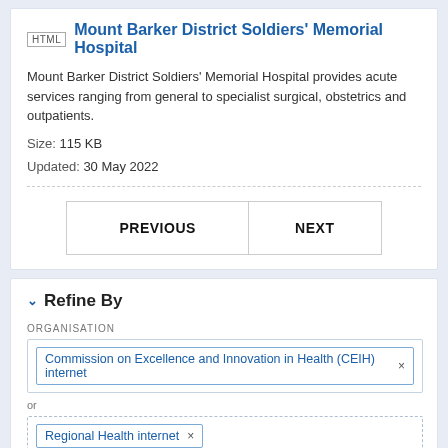Mount Barker District Soldiers' Memorial Hospital
Mount Barker District Soldiers' Memorial Hospital provides acute services ranging from general to specialist surgical, obstetrics and outpatients.
Size: 115 KB
Updated: 30 May 2022
| PREVIOUS | NEXT |
Refine By
ORGANISATION
Commission on Excellence and Innovation in Health (CEIH) internet ×
or
Regional Health internet ×